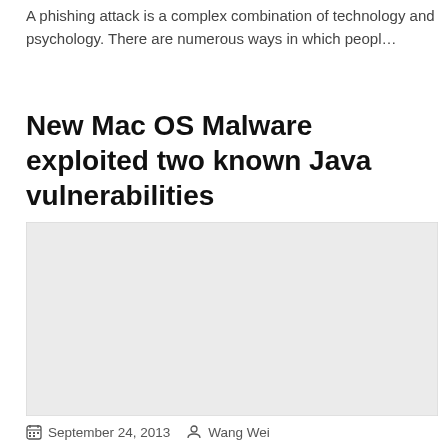A phishing attack is a complex combination of technology and psychology. There are numerous ways in which peopl…
New Mac OS Malware exploited two known Java vulnerabilities
[Figure (photo): A light gray placeholder image rectangle for the article about Mac OS Malware]
📅 September 24, 2013  👤 Wang Wei
A new Mac OS Malware has been discovered called